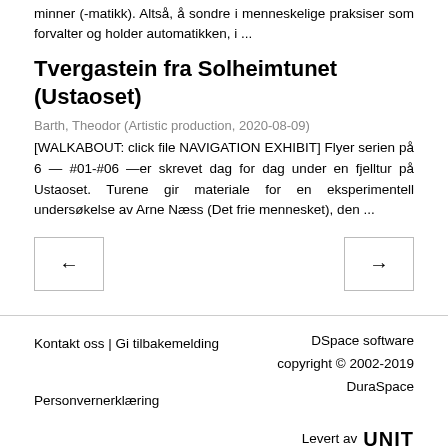minner (-matikk). Altså, å sondre i menneskelige praksiser som forvalter og holder automatikken, i ...
Tvergastein fra Solheimtunet (Ustaoset)
Barth, Theodor (Artistic production, 2020-08-09)
[WALKABOUT: click file NAVIGATION EXHIBIT] Flyer serien på 6 — #01-#06 —er skrevet dag for dag under en fjelltur på Ustaoset. Turene gir materiale for en eksperimentell undersøkelse av Arne Næss (Det frie mennesket), den ...
[Figure (other): Navigation buttons: left arrow button and right arrow button]
Kontakt oss | Gi tilbakemelding  Personvernerklæring  DSpace software copyright © 2002-2019 DuraSpace  Levert av UNIT